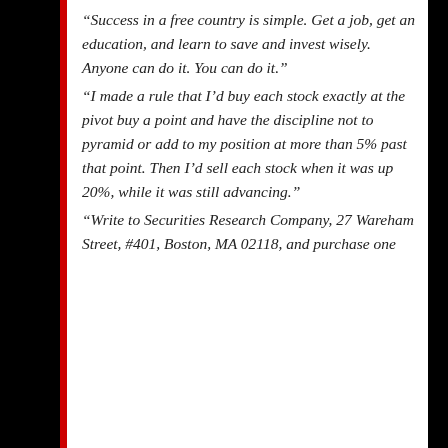“Success in a free country is simple. Get a job, get an education, and learn to save and invest wisely. Anyone can do it. You can do it.”
“I made a rule that I’d buy each stock exactly at the pivot buy a point and have the discipline not to pyramid or add to my position at more than 5% past that point. Then I’d sell each stock when it was up 20%, while it was still advancing.”
“Write to Securities Research Company, 27 Wareham Street, #401, Boston, MA 02118, and purchase one